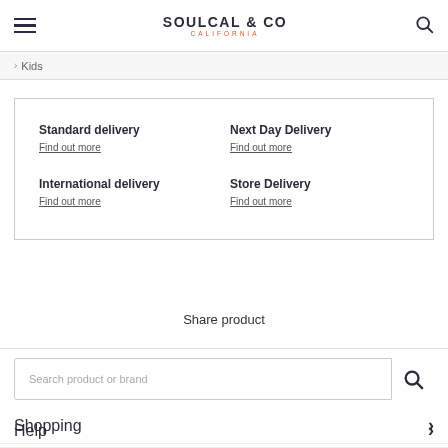SOULCAL & CO CALIFORNIA
Kids
Standard delivery
Find out more
Next Day Delivery
Find out more
International delivery
Find out more
Store Delivery
Find out more
Share product
Search product or brand
Shopping
Help